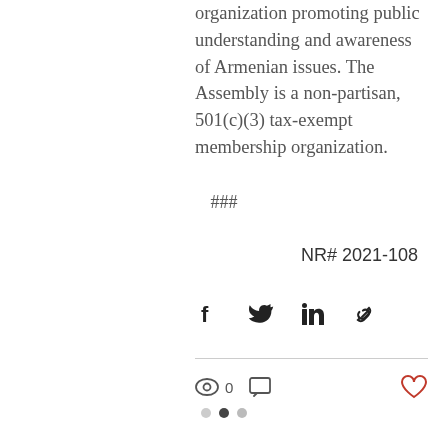organization promoting public understanding and awareness of Armenian issues. The Assembly is a non-partisan, 501(c)(3) tax-exempt membership organization.
###
NR# 2021-108
[Figure (other): Social share icons: Facebook, Twitter, LinkedIn, Link]
[Figure (other): Action bar with view count (0), comment icon, and heart/like icon]
[Figure (other): Navigation dots: three dots, middle one active (dark)]